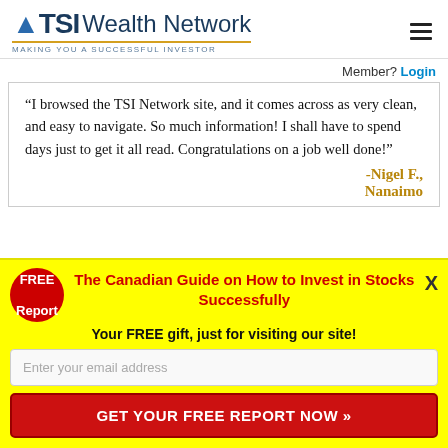TSI Wealth Network — MAKING YOU A SUCCESSFUL INVESTOR
Member? Login
“I browsed the TSI Network site, and it comes across as very clean, and easy to navigate. So much information! I shall have to spend days just to get it all read. Congratulations on a job ⁠well done!”
-Nigel F., Nanaimo
FREE Report — The Canadian Guide on How to Invest in Stocks Successfully
Your FREE gift, just for visiting our site!
Enter your email address
GET YOUR FREE REPORT NOW »